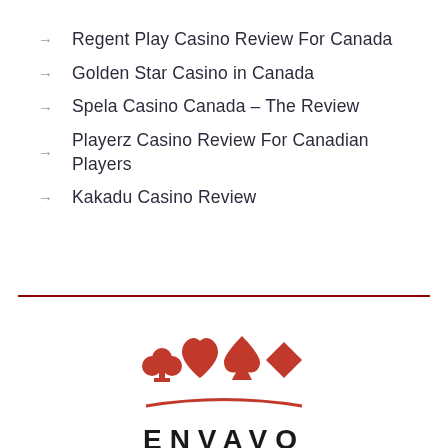Regent Play Casino Review For Canada
Golden Star Casino in Canada
Spela Casino Canada – The Review
Playerz Casino Review For Canadian Players
Kakadu Casino Review
[Figure (logo): Envavo logo with four red card suit symbols (club, heart, spade, diamond) above a red arc line, with ENVAVO text below]
Copyright © Envavo.com |